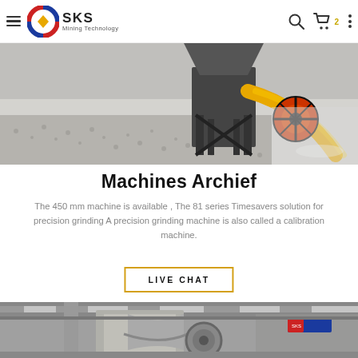SKS Mining Technology
[Figure (photo): Industrial mining machine on factory floor with yellow curved chute and black metal frame, surrounded by crushed stone aggregate]
Machines Archief
The 450 mm machine is available , The 81 series Timesavers solution for precision grinding A precision grinding machine is also called a calibration machine.
LIVE CHAT
[Figure (photo): Large industrial jaw crusher machine inside a factory/warehouse building with overhead cranes and steel roof structure]